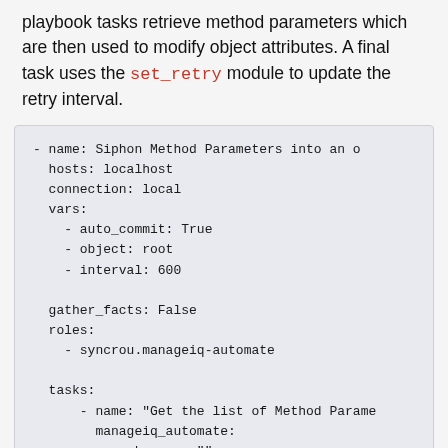playbook tasks retrieve method parameters which are then used to modify object attributes. A final task uses the set_retry module to update the retry interval.
[Figure (screenshot): Code block showing Ansible playbook YAML with a play named 'Siphon Method Parameters into an...' with hosts: localhost, connection: local, vars with auto_commit: True, object: root, interval: 600, gather_facts: False, roles: syncrou.manageiq-automate, tasks with a task named 'Get the list of Method Param...' using manageiq_automate module and workspace: '""']